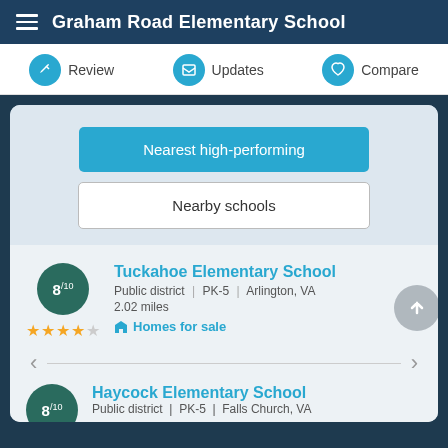Graham Road Elementary School
Review | Updates | Compare
Nearest high-performing
Nearby schools
Tuckahoe Elementary School
Public district | PK-5 | Arlington, VA
2.02 miles
Homes for sale
Haycock Elementary School